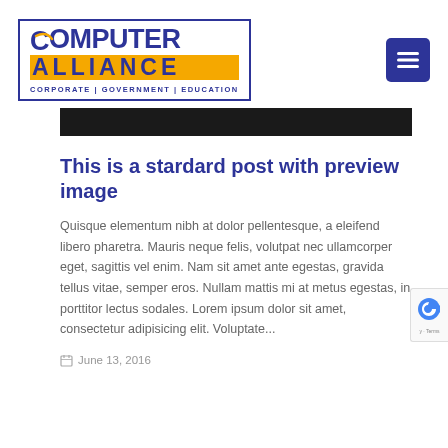[Figure (logo): Computer Alliance logo with blue border box, 'COMPUTER' text in dark blue with swoosh on C, 'ALLIANCE' text on orange background bar, tagline 'CORPORATE | GOVERNMENT | EDUCATION' below]
[Figure (other): Hamburger menu button - dark blue square with three white horizontal lines]
[Figure (photo): Dark image strip, partially visible preview image at top of article]
This is a stardard post with preview image
Quisque elementum nibh at dolor pellentesque, a eleifend libero pharetra. Mauris neque felis, volutpat nec ullamcorper eget, sagittis vel enim. Nam sit amet ante egestas, gravida tellus vitae, semper eros. Nullam mattis mi at metus egestas, in porttitor lectus sodales. Lorem ipsum dolor sit amet, consectetur adipisicing elit. Voluptate...
June 13, 2016